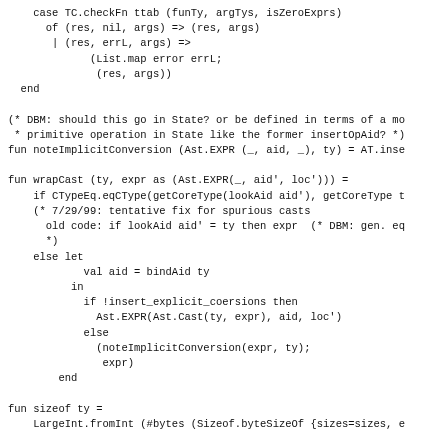case TC.checkFn ttab (funTy, argTys, isZeroExprs)
      of (res, nil, args) => (res, args)
       | (res, errL, args) =>
             (List.map error errL;
              (res, args))
  end

(* DBM: should this go in State? or be defined in terms of a mo
 * primitive operation in State like the former insertOpAid? *)
fun noteImplicitConversion (Ast.EXPR (_, aid, _), ty) = AT.inse

fun wrapCast (ty, expr as (Ast.EXPR(_, aid', loc'))) =
    if CTypeEq.eqCType(getCoreType(lookAid aid'), getCoreType t
    (* 7/29/99: tentative fix for spurious casts
      old code: if lookAid aid' = ty then expr  (* DBM: gen. eq
      *)
    else let
            val aid = bindAid ty
          in
            if !insert_explicit_coersions then
              Ast.EXPR(Ast.Cast(ty, expr), aid, loc')
            else
              (noteImplicitConversion(expr, ty);
               expr)
        end

fun sizeof ty =
    LargeInt.fromInt (#bytes (Sizeof.byteSizeOf {sizes=sizes, e

fun isLval (expr, ty) =
    case expr
      of Ast.Member(Ast.EXPR (expr'', aid, _), _) =>
           isLval (expr'', lookAid aid)
       | (Ast.Id _ | Ast.Sub _ | Ast.Arrow _ | Ast.Deref _) =>
       | _ => false

fun checkAssignableLval (expr, ty, s) =
    (* check we can assign to this expression.